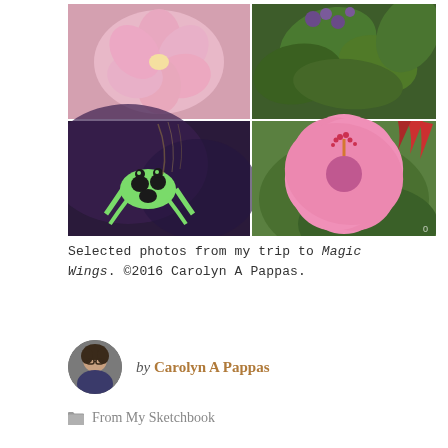[Figure (photo): A collage of four nature photos arranged in a 2x2 grid: top-left shows a pink lotus/plumeria flower, top-right shows green tropical leaves and purple flowers, bottom-left shows a green and black poison dart frog on a dark surface, bottom-right shows a large pink hibiscus flower with red stamens and red flower spikes in the background.]
Selected photos from my trip to Magic Wings. ©2016 Carolyn A Pappas.
by Carolyn A Pappas
From My Sketchbook